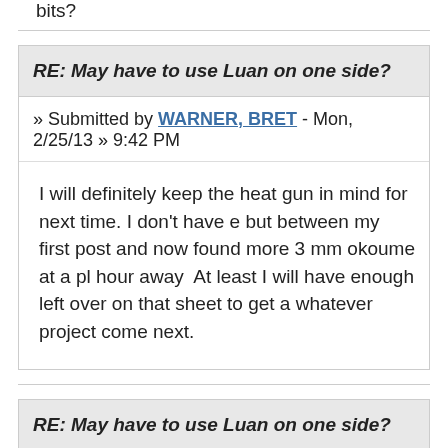bits?
RE: May have to use Luan on one side?
» Submitted by WARNER, BRET - Mon, 2/25/13 » 9:42 PM
I will definitely keep the heat gun in mind for next time. I don't have e but between my first post and now found more 3 mm okoume at a pl hour away  At least I will have enough left over on that sheet to get a whatever project come next.
RE: May have to use Luan on one side?
» Submitted by Charlie C. - Mon, 2/25/13 » 11:18 PM
The stiffness of the Luna and okume is different and it may effect the